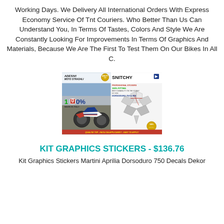Working Days. We Delivery All International Orders With Express Economy Service Of Tnt Couriers. Who Better Than Us Can Understand You, In Terms Of Tastes, Colors And Style We Are Constantly Looking For Improvements In Terms Of Graphics And Materials, Because We Are The First To Test Them On Our Bikes In All C.
[Figure (photo): Product image showing SNITCHY brand motorcycle sticker kit for Aprilia Dorsoduro 750 & 900, 100% Made in Italy, with image of stickered motorcycle on left and sticker designs on right.]
KIT GRAPHICS STICKERS - $136.76
Kit Graphics Stickers Martini Aprilia Dorsoduro 750 Decals Dekor